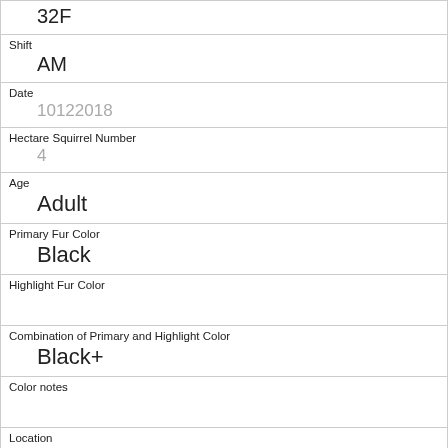| 32F |
| Shift | AM |
| Date | 10122018 |
| Hectare Squirrel Number | 4 |
| Age | Adult |
| Primary Fur Color | Black |
| Highlight Fur Color |  |
| Combination of Primary and Highlight Color | Black+ |
| Color notes |  |
| Location | Ground Plane |
| Above Ground Sighter Measurement | FALSE |